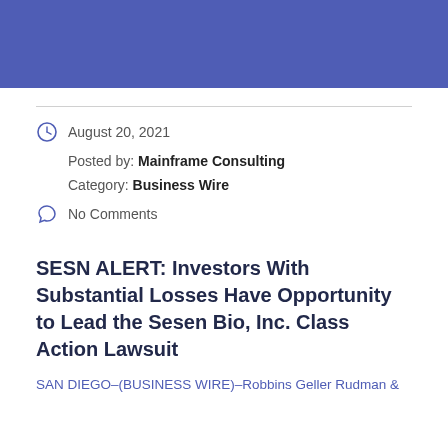[Figure (other): Blue/indigo header bar spanning the full page width]
August 20, 2021
Posted by: Mainframe Consulting
Category: Business Wire
No Comments
SESN ALERT: Investors With Substantial Losses Have Opportunity to Lead the Sesen Bio, Inc. Class Action Lawsuit
SAN DIEGO–(BUSINESS WIRE)–Robbins Geller Rudman &